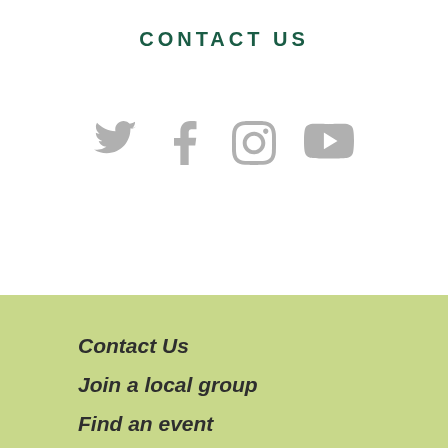CONTACT US
[Figure (illustration): Four social media icons: Twitter bird, Facebook F, Instagram camera, YouTube play button, displayed in grey]
Contact Us
Join a local group
Find an event
Be a member
Work with us
Privacy
Authorised by Kelly O'Shanassy, ACF, 60 Leicester St Carlton 3053.
We acknowledge the Traditional Owners of